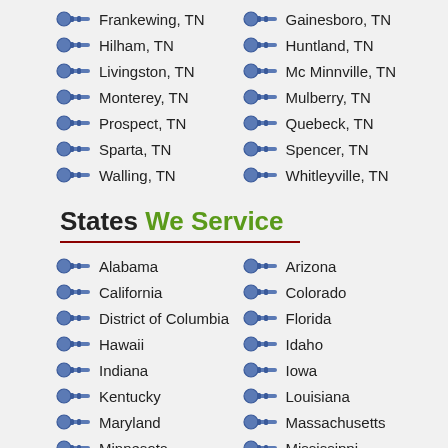Frankewing, TN
Gainesboro, TN
Hilham, TN
Huntland, TN
Livingston, TN
Mc Minnville, TN
Monterey, TN
Mulberry, TN
Prospect, TN
Quebeck, TN
Sparta, TN
Spencer, TN
Walling, TN
Whitleyville, TN
States We Service
Alabama
Arizona
California
Colorado
District of Columbia
Florida
Hawaii
Idaho
Indiana
Iowa
Kentucky
Louisiana
Maryland
Massachusetts
Minnesota
Mississippi
Montana
Nebraska
New Hampshire
New Jersey
New York
North Carolina
Oklahoma
Oregon
Rhode Island
South Carolina
Tennessee
Texas
Vermont
Virginia